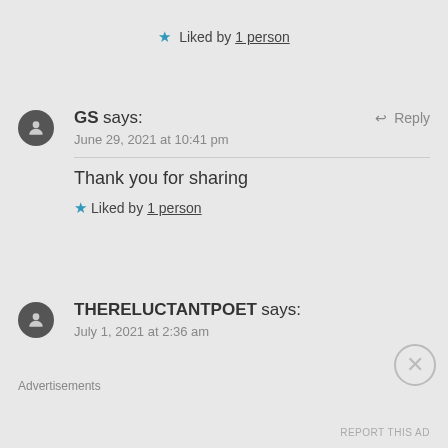★ Liked by 1 person
GS says: June 29, 2021 at 10:41 pm
Thank you for sharing
★ Liked by 1 person
THERELUCTANTPOET says: July 1, 2021 at 2:36 am
Advertisements